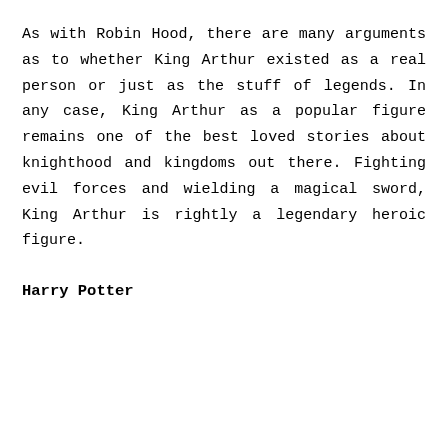As with Robin Hood, there are many arguments as to whether King Arthur existed as a real person or just as the stuff of legends. In any case, King Arthur as a popular figure remains one of the best loved stories about knighthood and kingdoms out there. Fighting evil forces and wielding a magical sword, King Arthur is rightly a legendary heroic figure.
Harry Potter